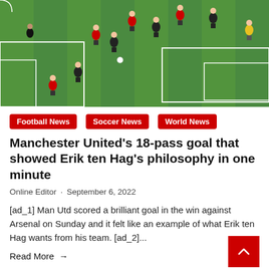[Figure (photo): Aerial view of a football pitch during a match. Players in red (Manchester United) and dark shirts visible on green grass with white pitch markings. A yellow goalkeeper visible in the background near the goal area.]
Football News
Soccer News
World News
Manchester United's 18-pass goal that showed Erik ten Hag's philosophy in one minute
Online Editor · September 6, 2022
[ad_1] Man Utd scored a brilliant goal in the win against Arsenal on Sunday and it felt like an example of what Erik ten Hag wants from his team. [ad_2]...
Read More →